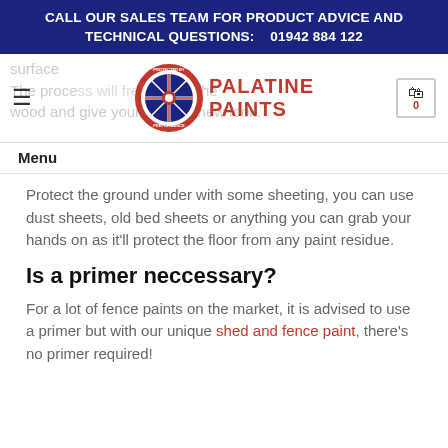CALL OUR SALES TEAM FOR PRODUCT ADVICE AND TECHNICAL QUESTIONS:    01942 884 122
[Figure (logo): Palatine Paints logo with circular badge and red text]
surface
The proce... up the wood and give your fence a new look.
Menu
Protect the ground under with some sheeting, you can use dust sheets, old bed sheets or anything you can grab your hands on as it'll protect the floor from any paint residue.
Is a primer neccessary?
For a lot of fence paints on the market, it is advised to use a primer but with our unique shed and fence paint, there's no primer required!